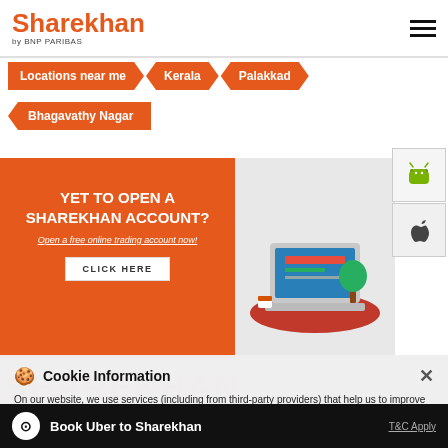Sharekhan by BNP PARIBAS
Locations near me > Kerala > Palakkad
Bhagavathy Nagar
[Figure (screenshot): Orange promotional banner: YET TO OPEN A SHAREKHAN ACCOUNT? Open a free online trading account now! CLICK HERE button, with laptop/desk illustration]
[Figure (other): Android app store button (green Android robot icon)]
[Figure (other): Apple App Store button (Apple logo icon)]
Cookie Information
On our website, we use services (including from third-party providers) that help us to improve our online presence (optimization of website) and to display content that is geared to their interests. We need your consent before being able to use these services.
SHAREKHAN
Mahalakshmi, Pudussery
Bhagavathy Nagar
Book Uber to Sharekhan   T&C Apply